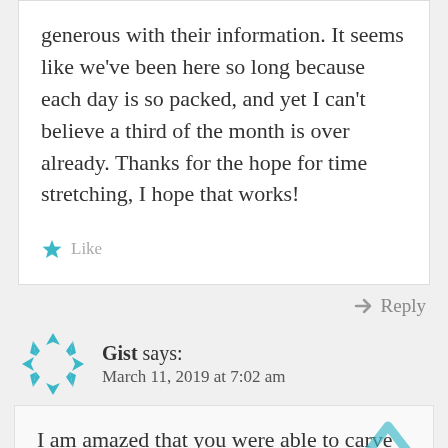generous with their information. It seems like we've been here so long because each day is so packed, and yet I can't believe a third of the month is over already. Thanks for the hope for time stretching, I hope that works!
Like
Reply
Gist says: March 11, 2019 at 7:02 am
I am amazed that you were able to carve The Three Graces in such a short period of time. One photo shows what appears